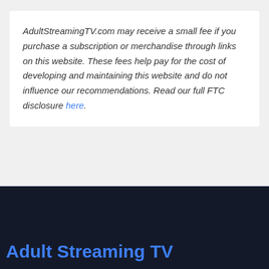AdultStreamingTV.com may receive a small fee if you purchase a subscription or merchandise through links on this website. These fees help pay for the cost of developing and maintaining this website and do not influence our recommendations. Read our full FTC disclosure here.
Adult Streaming TV